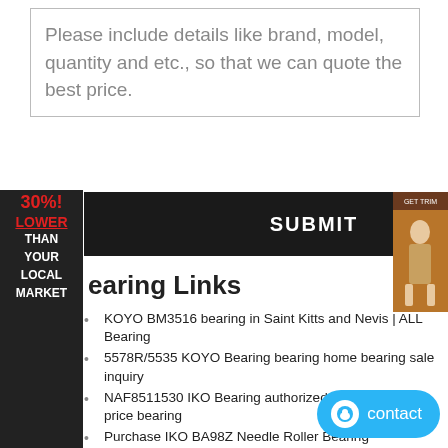Please include details like brand, model, quantity and etc., so that we can quote the best price.
Bearing Links
KOYO BM3516 bearing in Saint Kitts and Nevis | ALL Bearing
5578R/5535 KOYO Bearing bearing home bearing sale inquiry
NAF8511530 IKO Bearing authorized bearing cheap price bearing
Purchase IKO BA98Z Needle Roller Bearing 14.288x19.05x12
NNU38/500C1NAP4 NTN Bearing quality bearing delivery top brand bearing
NACHI 7319CDT Bearing | Bearing Low Price & Trade
NTN NA6905R bearing, bearing size: 25mm*42mm*30mm,Bearing
Bearing NCF1838V Four row cylindrical roller
6921ZZ | NTN 6921ZZ | NTN Bearings Wholesaler
71918ACB/P4AL SKF Bearing bearing home bearing
L44642/L44610 bearing Retailer,Trader_Timken